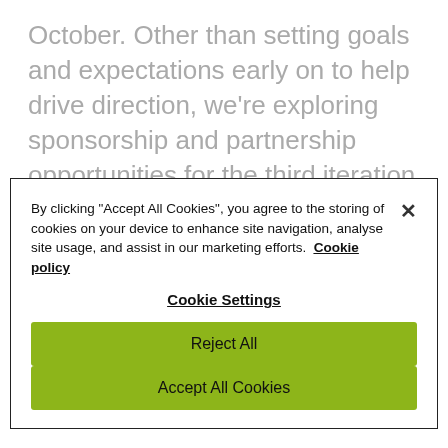October. Other than setting goals and expectations early on to help drive direction, we're exploring sponsorship and partnership opportunities for the third iteration of the project. We're also developing a how-to guide,
By clicking "Accept All Cookies", you agree to the storing of cookies on your device to enhance site navigation, analyse site usage, and assist in our marketing efforts. Cookie policy
Cookie Settings
Reject All
Accept All Cookies